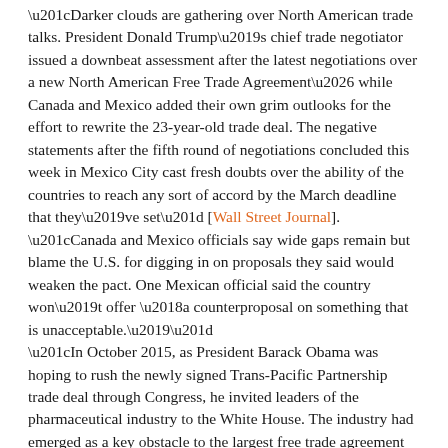“Darker clouds are gathering over North American trade talks. President Donald Trump’s chief trade negotiator issued a downbeat assessment after the latest negotiations over a new North American Free Trade Agreement… while Canada and Mexico added their own grim outlooks for the effort to rewrite the 23-year-old trade deal. The negative statements after the fifth round of negotiations concluded this week in Mexico City cast fresh doubts over the ability of the countries to reach any sort of accord by the March deadline that they’ve set” [Wall Street Journal]. “Canada and Mexico officials say wide gaps remain but blame the U.S. for digging in on proposals they said would weaken the pact. One Mexican official said the country won’t offer ‘a counterproposal on something that is unacceptable.’”
“In October 2015, as President Barack Obama was hoping to rush the newly signed Trans-Pacific Partnership trade deal through Congress, he invited leaders of the pharmaceutical industry to the White House. The industry had emerged as a key obstacle to the largest free trade agreement in history, insisting that TPP didn’t provide enough protection for an expensive class of nature-based drugs called biologics” [Politico]. “In the Roosevelt Room meeting, Obama made the case for pharma’s leaders to accept half a loaf: The eight years they’d get under TPP were way better than the zero years they’d get without it, and his administration would have